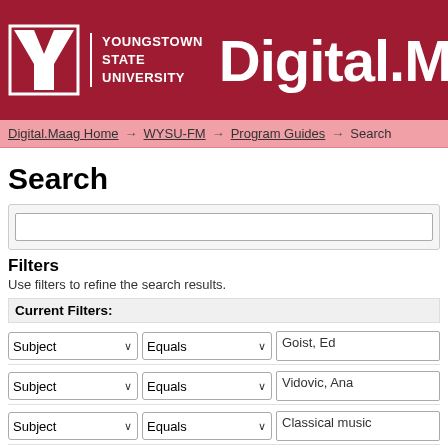[Figure (logo): Youngstown State University logo with Y letter mark and Digital.Maa header text on dark red background]
Digital.Maag Home → WYSU-FM → Program Guides → Search
Search
Filters
Use filters to refine the search results.
Current Filters:
Subject | Equals | Goist, Ed
Subject | Equals | Vidovic, Ana
Subject | Equals | Classical music
Subject | Equals | National Public Radio (U.S.)
Subject | Equals | WYSU-FM
Subject | Equals | Program guides